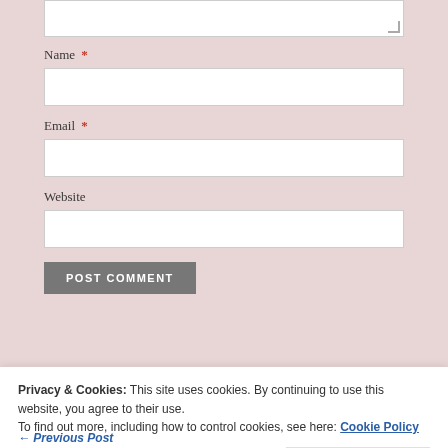[Figure (screenshot): Partial textarea input stub at top of form area]
Name *
[Figure (screenshot): Name text input field (empty)]
Email *
[Figure (screenshot): Email text input field (empty)]
Website
[Figure (screenshot): Website text input field (empty)]
POST COMMENT
Privacy & Cookies: This site uses cookies. By continuing to use this website, you agree to their use. To find out more, including how to control cookies, see here: Cookie Policy
Close and accept
← Previous Post